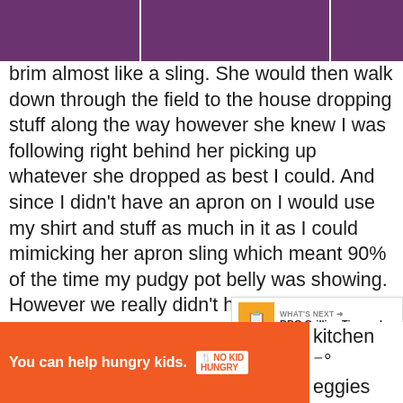[Purple navigation header bar]
brim almost like a sling.  She would then walk down through the field to the house dropping stuff along the way however she knew I was following right behind her picking up whatever she dropped as best I could.  And since I didn't have an apron on I would use my shirt and stuff as much in it as I could mimicking her apron sling which meant 90% of the time my pudgy pot belly was showing.  However we really didn't have neighbors that were close since our house was in the middle of ~41 acres.
I'd make a few trips back and forth the picking up what I dropped and told her every time start anything without me cause I wanted to help.
Eve [partially visible] kitchen with [partially visible] eggies